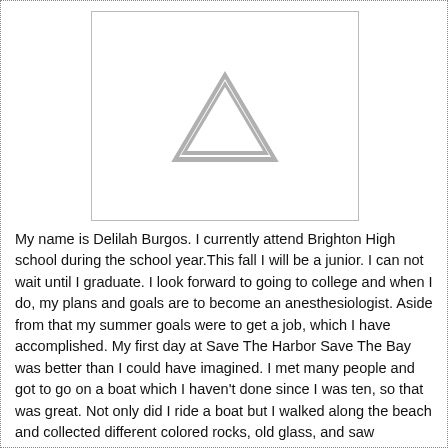[Figure (other): Placeholder image with a grey warning/caution triangle icon with exclamation mark on white background]
My name is Delilah Burgos. I currently attend Brighton High school during the school year.This fall I will be a junior. I can not wait until I graduate. I look forward to going to college and when I do, my plans and goals are to become an anesthesiologist. Aside from that my summer goals were to get a job, which I have accomplished. My first day at Save The Harbor Save The Bay was better than I could have imagined. I met many people and got to go on a boat which I haven't done since I was ten, so that was great. Not only did I ride a boat but I walked along the beach and collected different colored rocks, old glass, and saw marbles. It was